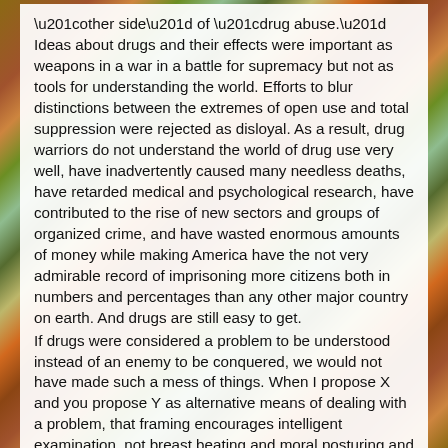“other side” of “drug abuse.” Ideas about drugs and their effects were important as weapons in a war in a battle for supremacy but not as tools for understanding the world. Efforts to blur distinctions between the extremes of open use and total suppression were rejected as disloyal. As a result, drug warriors do not understand the world of drug use very well, have inadvertently caused many needless deaths, have retarded medical and psychological research, have contributed to the rise of new sectors and groups of organized crime, and have wasted enormous amounts of money while making America have the not very admirable record of imprisoning more citizens both in numbers and percentages than any other major country on earth. And drugs are still easy to get.
If drugs were considered a problem to be understood instead of an enemy to be conquered, we would not have made such a mess of things. When I propose X and you propose Y as alternative means of dealing with a problem, that framing encourages intelligent examination, not breast beating and moral posturing and lectures that one or the other of us is “weak” or “defeatist.